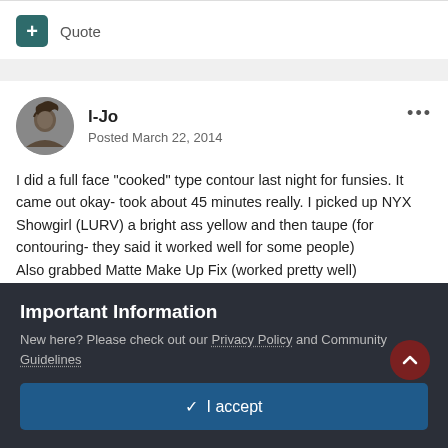+ Quote
I-Jo
Posted March 22, 2014
I did a full face "cooked" type contour last night for funsies. It came out okay- took about 45 minutes really.  I picked up NYX Showgirl (LURV) a bright ass yellow and then taupe (for contouring- they said it worked well for some people)
Also grabbed Matte Make Up Fix (worked pretty well)
Important Information
New here? Please check out our Privacy Policy and Community Guidelines
✓  I accept